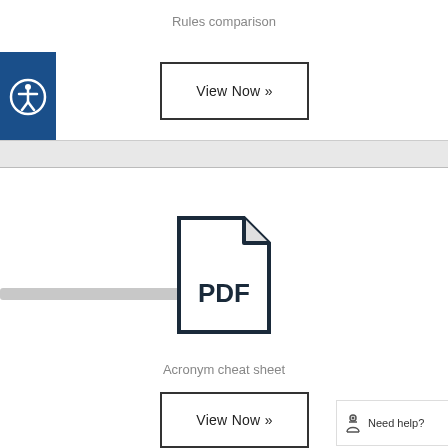Rules comparison
[Figure (illustration): Accessibility icon: blue square with white universal access symbol (person in circle)]
View Now »
[Figure (illustration): Horizontal scrollbar divider area in grey]
[Figure (other): PDF file icon with folded corner and text PDF inside]
Acronym cheat sheet
View Now »
Need help?